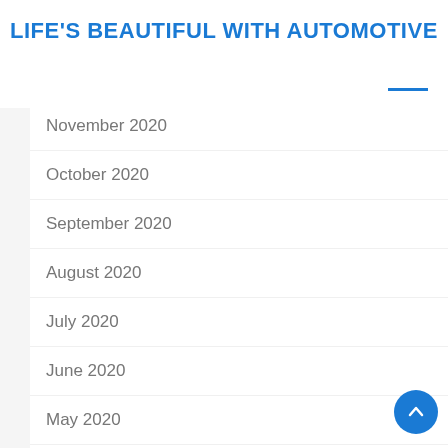LIFE'S BEAUTIFUL WITH AUTOMOTIVE
November 2020
October 2020
September 2020
August 2020
July 2020
June 2020
May 2020
April 2020